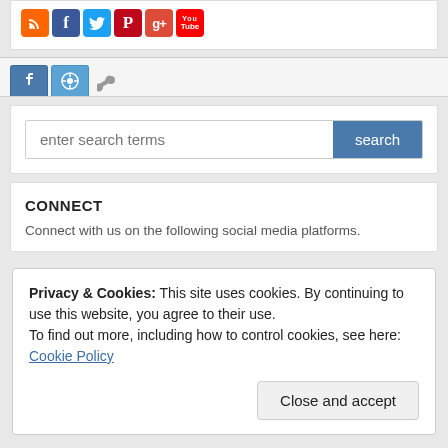[Figure (screenshot): Social media icon bar with RSS, Facebook, Twitter, Pinterest, Google+, YouTube icons]
[Figure (screenshot): Tab bar with Facebook, WordPress, and share icons]
[Figure (screenshot): Search bar with input field and search button]
CONNECT
Connect with us on the following social media platforms.
Privacy & Cookies: This site uses cookies. By continuing to use this website, you agree to their use.
To find out more, including how to control cookies, see here: Cookie Policy
Close and accept